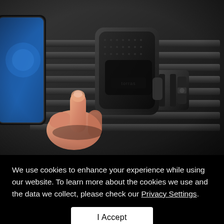[Figure (photo): A hand pressing a black magnetic car phone mount (branded 'torras') attached to car air vent, with a smartphone visible on the left side.]
We use cookies to enhance your experience while using our website. To learn more about the cookies we use and the data we collect, please check our Privacy Settings.
I Accept